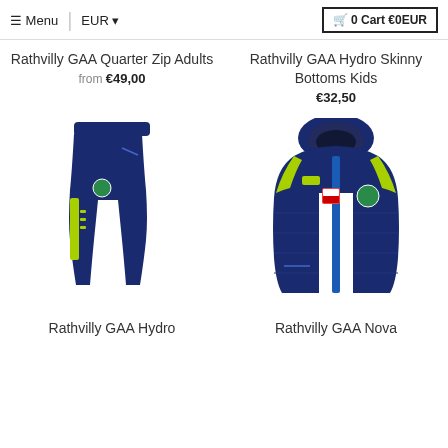Menu | EUR ▾  |  🛒 0 Cart €0EUR
Rathvilly GAA Quarter Zip Adults
from €49,00
Rathvilly GAA Hydro Skinny Bottoms Kids
€32,50
[Figure (photo): Navy blue GAA skinny training bottoms with neon green stripe and club crest]
[Figure (photo): Navy blue GAA padded hooded gilet/vest with neon green trim, blue zip, and club crest]
Rathvilly GAA Hydro
Rathvilly GAA Nova